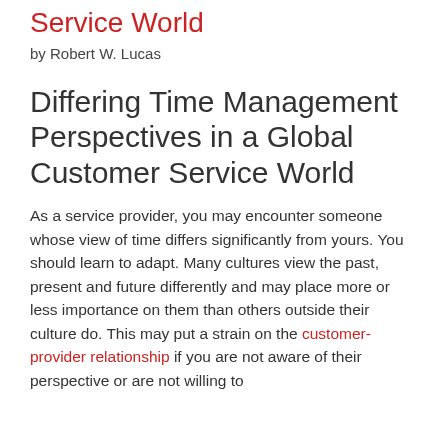Service World
by Robert W. Lucas
Differing Time Management Perspectives in a Global Customer Service World
As a service provider, you may encounter someone whose view of time differs significantly from yours. You should learn to adapt. Many cultures view the past, present and future differently and may place more or less importance on them than others outside their culture do. This may put a strain on the customer-provider relationship if you are not aware of their perspective or are not willing to